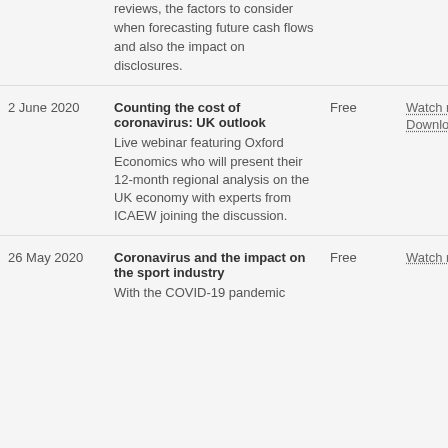reviews, the factors to consider when forecasting future cash flows and also the impact on disclosures.
| Date | Event | Price | Links |
| --- | --- | --- | --- |
| 2 June 2020 | Counting the cost of coronavirus: UK outlook
Live webinar featuring Oxford Economics who will present their 12-month regional analysis on the UK economy with experts from ICAEW joining the discussion. | Free | Watch now
Download slides |
| 26 May 2020 | Coronavirus and the impact on the sport industry
With the COVID-19 pandemic | Free | Watch now |